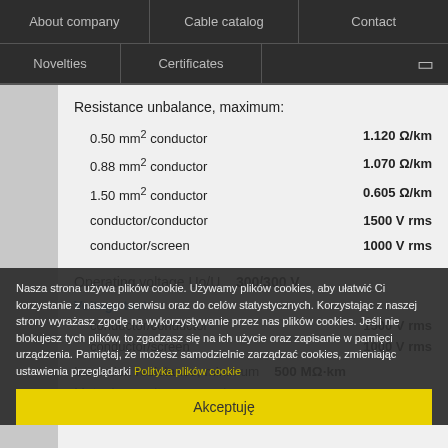About company | Cable catalog | Contact | Novelties | Certificates
Resistance unbalance, maximum:
0.50 mm² conductor   1.120 Ω/km
0.88 mm² conductor   1.070 Ω/km
1.50 mm² conductor   0.605 Ω/km
conductor/conductor   1500 V rms
conductor/screen   1000 V rms
Operating voltage Uo/U   300/300 V
Voltage test
conductor/conductor   1500 V rms
conductor/screen   1000 V rms
Insulation resistance, minimum   500 MΩ·km
Mutual capacitance, maximum:
Nasza strona używa plików cookie. Używamy plików cookies, aby ułatwić Ci korzystanie z naszego serwisu oraz do celów statystycznych. Korzystając z naszej strony wyrażasz zgodę na wykorzystywanie przez nas plików cookies. Jeśli nie blokujesz tych plików, to zgadzasz się na ich użycie oraz zapisanie w pamięci urządzenia. Pamiętaj, że możesz samodzielnie zarządzać cookies, zmieniając ustawienia przeglądarki Polityka plików cookie
Akceptuję